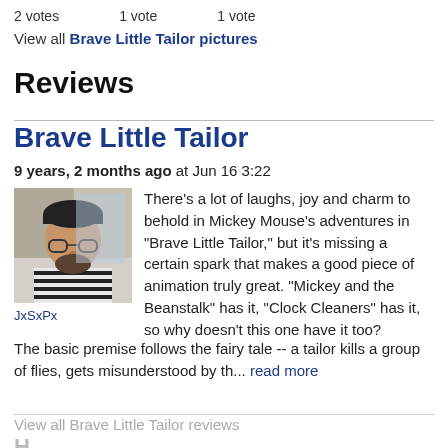2 votes   1 vote   1 vote
View all Brave Little Tailor pictures
Reviews
Brave Little Tailor
9 years, 2 months ago at Jun 16 3:22
[Figure (photo): User avatar photo of JxSxPx - a man with glasses and a beanie hat]
JxSxPx
There's a lot of laughs, joy and charm to behold in Mickey Mouse's adventures in "Brave Little Tailor," but it's missing a certain spark that makes a good piece of animation truly great. "Mickey and the Beanstalk" has it, "Clock Cleaners" has it, so why doesn't this one have it too?
The basic premise follows the fairy tale -- a tailor kills a group of flies, gets misunderstood by th... read more
View all Brave Little Tailor reviews